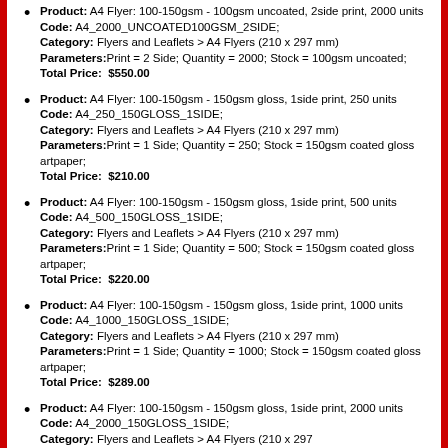Product: A4 Flyer: 100-150gsm - 100gsm uncoated, 2side print, 2000 units Code: A4_2000_UNCOATED100GSM_2SIDE; Category: Flyers and Leaflets > A4 Flyers (210 x 297 mm) Parameters: Print = 2 Side; Quantity = 2000; Stock = 100gsm uncoated; Total Price: $550.00
Product: A4 Flyer: 100-150gsm - 150gsm gloss, 1side print, 250 units Code: A4_250_150GLOSS_1SIDE; Category: Flyers and Leaflets > A4 Flyers (210 x 297 mm) Parameters: Print = 1 Side; Quantity = 250; Stock = 150gsm coated gloss artpaper; Total Price: $210.00
Product: A4 Flyer: 100-150gsm - 150gsm gloss, 1side print, 500 units Code: A4_500_150GLOSS_1SIDE; Category: Flyers and Leaflets > A4 Flyers (210 x 297 mm) Parameters: Print = 1 Side; Quantity = 500; Stock = 150gsm coated gloss artpaper; Total Price: $220.00
Product: A4 Flyer: 100-150gsm - 150gsm gloss, 1side print, 1000 units Code: A4_1000_150GLOSS_1SIDE; Category: Flyers and Leaflets > A4 Flyers (210 x 297 mm) Parameters: Print = 1 Side; Quantity = 1000; Stock = 150gsm coated gloss artpaper; Total Price: $289.00
Product: A4 Flyer: 100-150gsm - 150gsm gloss, 1side print, 2000 units Code: A4_2000_150GLOSS_1SIDE; Category: Flyers and Leaflets > A4 Flyers (210 x 297